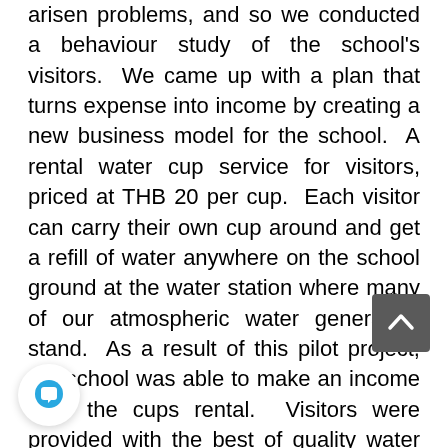arisen problems, and so we conducted a behaviour study of the school's visitors. We came up with a plan that turns expense into income by creating a new business model for the school. A rental water cup service for visitors, priced at THB 20 per cup. Each visitor can carry their own cup around and get a refill of water anywhere on the school ground at the water station where many of our atmospheric water generators stand. As a result of this pilot project, the school was able to make an income from the cups rental. Visitors were provided with the best of quality water from air. The school became waste-free, and the students gained unlimited access to such high-quality water to drink. This project was the first pilot t of bottle-free drinking water available in Thailand.